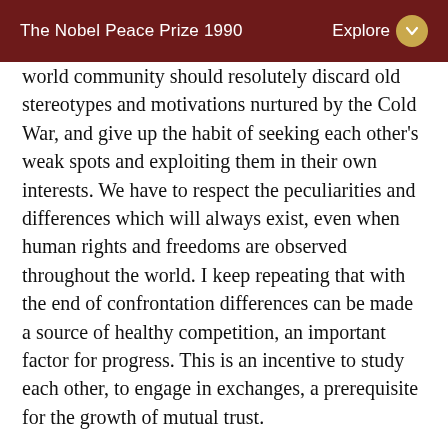The Nobel Peace Prize 1990    Explore
world community should resolutely discard old stereotypes and motivations nurtured by the Cold War, and give up the habit of seeking each other's weak spots and exploiting them in their own interests. We have to respect the peculiarities and differences which will always exist, even when human rights and freedoms are observed throughout the world. I keep repeating that with the end of confrontation differences can be made a source of healthy competition, an important factor for progress. This is an incentive to study each other, to engage in exchanges, a prerequisite for the growth of mutual trust.
For knowledge and trust are the foundations of a new world order. Hence the necessity, in my view, to learn to forecast the course of events in various